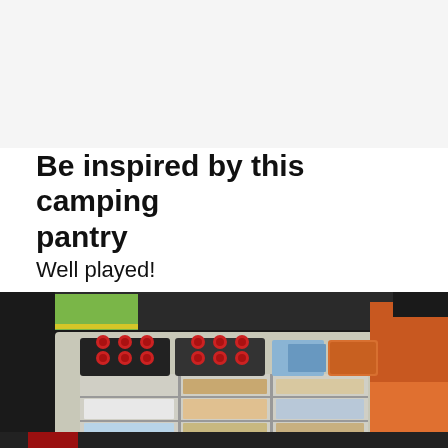Be inspired by this camping pantry
Well played!
[Figure (photo): Open trunk of an SUV packed with a plastic drawer organizer stacked with food supplies, with bottles of drinks on top and snack bags behind, parked near a green lawn and a tent visible on the right.]